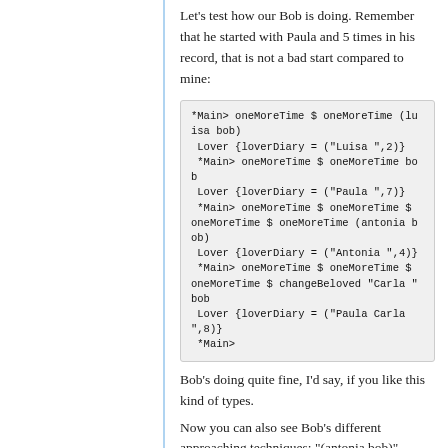Let's test how our Bob is doing. Remember that he started with Paula and 5 times in his record, that is not a bad start compared to mine:
[Figure (screenshot): Haskell REPL session showing oneMoreTime and changeBeloved function calls with Bob and various partners (Luisa, Paula, Antonia, Carla), displaying Lover record results.]
Bob's doing quite fine, I'd say, if you like this kind of types.
Now you can also see Bob's different approaching techniques: "(antonia bob)"